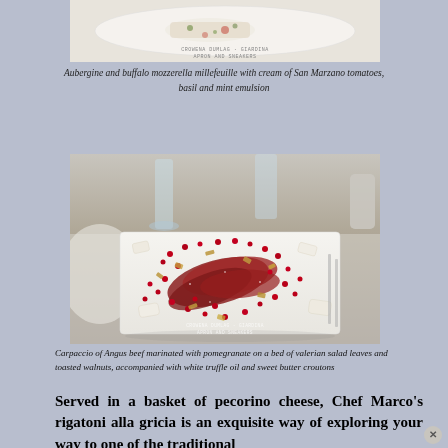[Figure (photo): Top food photo showing aubergine and buffalo mozzarella millefeuille dish on white plate, with watermark text 'Crowena Dumlag - Giardina / Apron and Sneakers']
Aubergine and buffalo mozzerella millefeuille with cream of San Marzano tomatoes, basil and mint emulsion
[Figure (photo): Carpaccio of Angus beef marinated with pomegranate on a white rectangular plate, scattered with red pomegranate seeds and chopped nuts, with wine glasses and tableware in background. Watermark 'Crowena Dumlag - Giardina / Apron and Sneakers']
Carpaccio of Angus beef marinated with pomegranate on a bed of valerian salad leaves and toasted walnuts, accompanied with white truffle oil and sweet butter croutons
Served in a basket of pecorino cheese, Chef Marco's rigatoni alla gricia is an exquisite way of exploring your way to one of the traditional